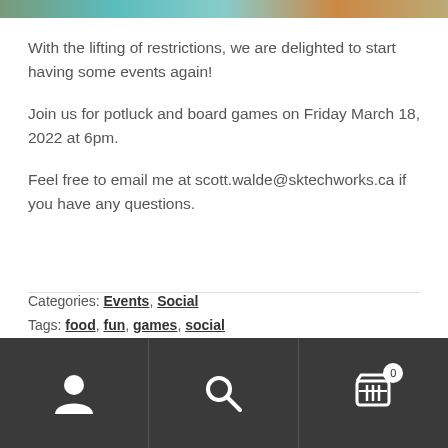[Figure (photo): Cropped photo strip at top of page showing a colorful image]
With the lifting of restrictions, we are delighted to start having some events again!
Join us for potluck and board games on Friday March 18, 2022 at 6pm.
Feel free to email me at scott.walde@sktechworks.ca if you have any questions.
Categories: Events, Social
Tags: food, fun, games, social
[Figure (screenshot): Dark footer navigation bar with user icon, search icon, and shopping cart icon with badge showing 0]